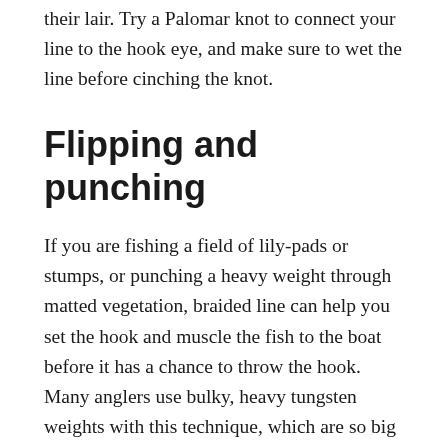their lair. Try a Palomar knot to connect your line to the hook eye, and make sure to wet the line before cinching the knot.
Flipping and punching
If you are fishing a field of lily-pads or stumps, or punching a heavy weight through matted vegetation, braided line can help you set the hook and muscle the fish to the boat before it has a chance to throw the hook. Many anglers use bulky, heavy tungsten weights with this technique, which are so big that they can “blow” a fish’s mouth open when you set the hook. Hooksets are difficult and